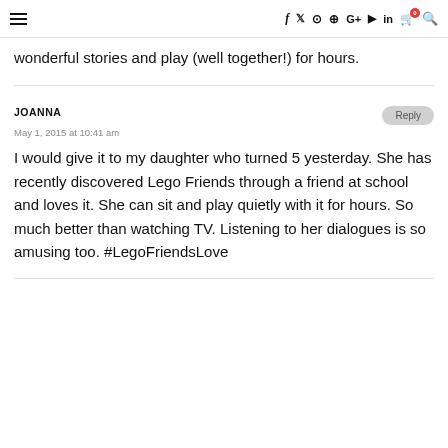≡  f  y  ⊙  ⊕  G+  ▶  in  🛒0  🔍
wonderful stories and play (well together!) for hours.
JOANNA
May 1, 2015 at 10:41 am
I would give it to my daughter who turned 5 yesterday. She has recently discovered Lego Friends through a friend at school and loves it. She can sit and play quietly with it for hours. So much better than watching TV. Listening to her dialogues is so amusing too. #LegoFriendsLove